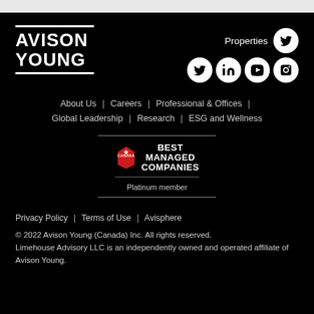[Figure (logo): Avison Young logo with white horizontal lines above and below the text in white on black background]
[Figure (logo): Social media icons: Properties Twitter icon, then row of Twitter, LinkedIn, YouTube, Instagram circle icons]
About Us | Careers | Professional & Offices | Global Leadership | Research | ESG and Wellness
[Figure (logo): Canada's Best Managed Companies Platinum member badge]
Privacy Policy | Terms of Use | Avisphere
© 2022 Avison Young (Canada) Inc. All rights reserved.
Limehouse Advisory LLC is an independently owned and operated affiliate of Avison Young.